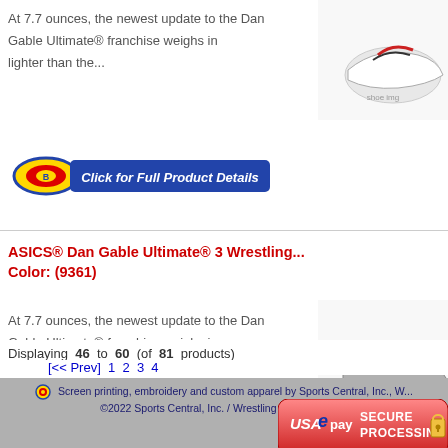At 7.7 ounces, the newest update to the Dan Gable Ultimate® franchise weighs in lighter than the...
[Figure (screenshot): Click for Full Product Details button with red/yellow oval logo]
[Figure (photo): Wrestling shoe - white/black/red colorway, partial view]
ASICS® Dan Gable Ultimate® 3 Wrestling ... Color: (9361)
At 7.7 ounces, the newest update to the Dan Gable Ultimate® franchise weighs in lighter than the...
[Figure (photo): Wrestling shoe - grey/teal colorway]
[Figure (screenshot): Click for Full Product Details button with red/yellow oval logo]
Displaying 46 to 60 (of 81 products)
[<< Prev] 1 2 3 4
Screen printing, embroidery and custom apparel by Sports Central, Inc., W... ©2022 Sports Central, Inc. / Wrestling Central. All ri...